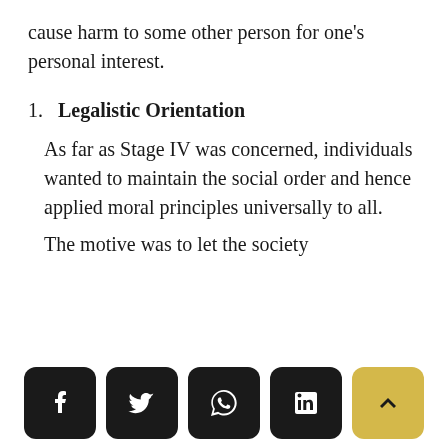cause harm to some other person for one's personal interest.
1. Legalistic Orientation
As far as Stage IV was concerned, individuals wanted to maintain the social order and hence applied moral principles universally to all.
The motive was to let the society
Social share buttons: Facebook, Twitter, WhatsApp, LinkedIn, Scroll to top